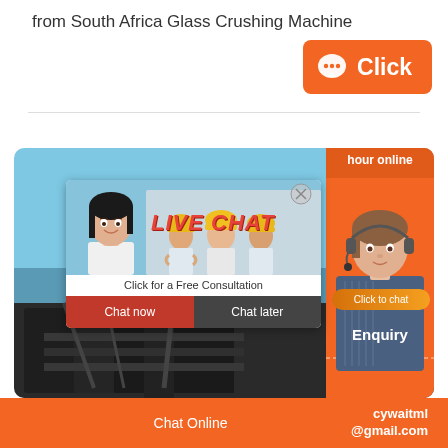from South Africa Glass Crushing Machine
[Figure (other): Orange 'Click' button with chat bubble icon]
[Figure (other): Industrial machinery background with live chat popup overlay showing workers in hard hats, 'LIVE CHAT / Click for a Free Consultation', Chat now / Chat later buttons, headset operator on right, 'hour online', 'Click to chat', 'Enquiry' text]
Chat Online   cywaitml @gmail.com